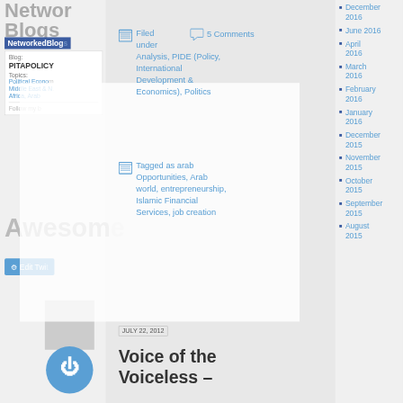Networked Blogs
NetworkedBlogs
Blog: PITAPOLICY
Topics: Political Economy, Middle East & N. Africa, Arab
Follow my b
Filed
under
Analysis, PIDE (Policy, International Development & Economics), Politics
5 Comments
Tagged as arab Opportunities, Arab world, entrepreneurship, Islamic Financial Services, job creation
December 2016
June 2016
April 2016
March 2016
February 2016
January 2016
December 2015
November 2015
October 2015
September 2015
August 2015
Awesome
Edit Twi...
JULY 22, 2012
Voice of the Voiceless –